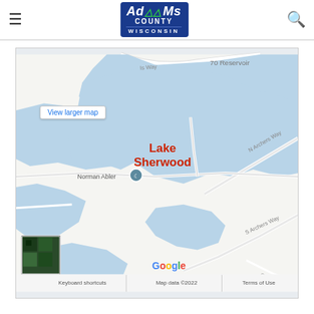Adams County Wisconsin - header with hamburger menu and search icon
[Figure (map): Google Maps embed showing Lake Sherwood in Adams County, Wisconsin. The map shows a large blue lake body labeled 'Lake Sherwood' in red text, with surrounding roads including N Archers Way and S Archers Way. A location pin marker is placed near 'Norman Abler'. There is a small satellite thumbnail in the lower left corner. Map data ©2022. Text shows '70 Reservoir' in upper right. Bottom bar includes 'Keyboard shortcuts', 'Map data ©2022', and 'Terms of Use'.]